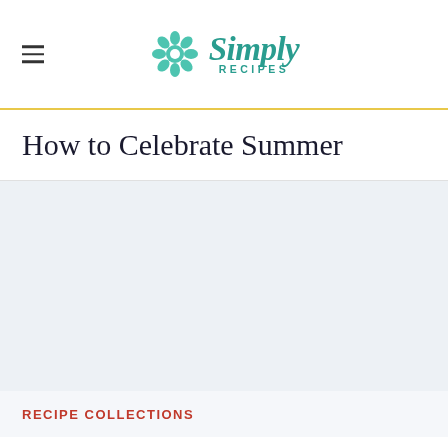Simply Recipes
How to Celebrate Summer
[Figure (photo): Large placeholder image area with light blue-gray background, representing a summer-themed hero image]
RECIPE COLLECTIONS